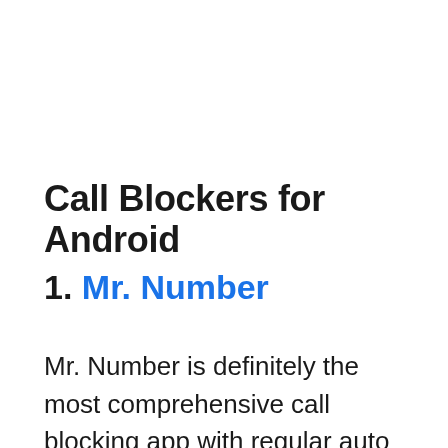Call Blockers for Android
1. Mr. Number
Mr. Number is definitely the most comprehensive call blocking app with regular auto blocking features. It will let you block calls and SMS from individual numbers, unknown numbers, hidden